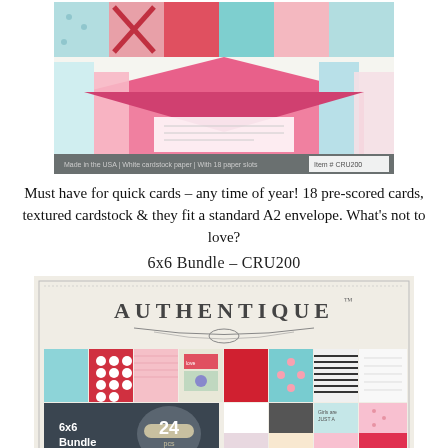[Figure (photo): Product photo of pre-scored cards with pink envelopes and patterned cardstock, showing a card kit product with decorative papers in pink, teal and red patterns. Bottom of image has a gray bar with product description text.]
Must have for quick cards – any time of year! 18 pre-scored cards, textured cardstock & they fit a standard A2 envelope. What's not to love?
6x6 Bundle – CRU200
[Figure (photo): Product photo of Authentique brand 6x6 Bundle paper collection called Crush. Shows a grid of 6x6 inch paper sheets in various patterns including polka dots, stripes, florals, and illustrated designs in pink, teal, red, and cream colors. Bottom left shows dark label reading '6x6 Bundle 24pcs Collection: Crush'.]